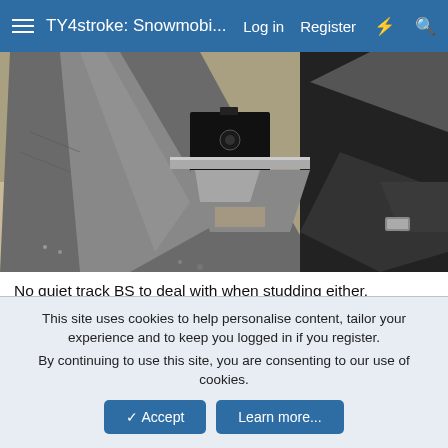TY4stroke: Snowmobi... Log in Register
[Figure (photo): Close-up photo of snowmobile track/chassis metal components, showing metal plates and hardware, black and silver metallic surfaces with a hinge or bolt mechanism visible in the center.]
No quiet track BS to deal with when studding either.
I willl say it dam heavy tho.
This site uses cookies to help personalise content, tailor your experience and to keep you logged in if you register.
By continuing to use this site, you are consenting to our use of cookies.